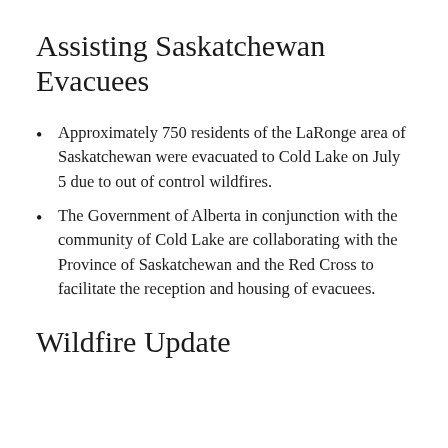Assisting Saskatchewan Evacuees
Approximately 750 residents of the LaRonge area of Saskatchewan were evacuated to Cold Lake on July 5 due to out of control wildfires.
The Government of Alberta in conjunction with the community of Cold Lake are collaborating with the Province of Saskatchewan and the Red Cross to facilitate the reception and housing of evacuees.
Wildfire Update